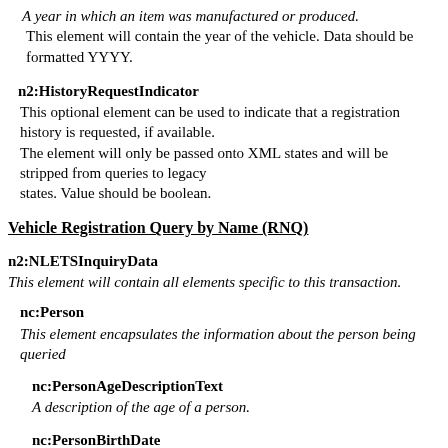A year in which an item was manufactured or produced.
  This element will contain the year of the vehicle. Data should be formatted YYYY.
n2:HistoryRequestIndicator
This optional element can be used to indicate that a registration history is requested, if available.
  The element will only be passed onto XML states and will be stripped from queries to legacy states. Value should be boolean.
Vehicle Registration Query by Name (RNQ)
n2:NLETSInquiryData
This element will contain all elements specific to this transaction.
nc:Person
This element encapsulates the information about the person being queried
nc:PersonAgeDescriptionText
A description of the age of a person.
nc:PersonBirthDate
A date a person was born.